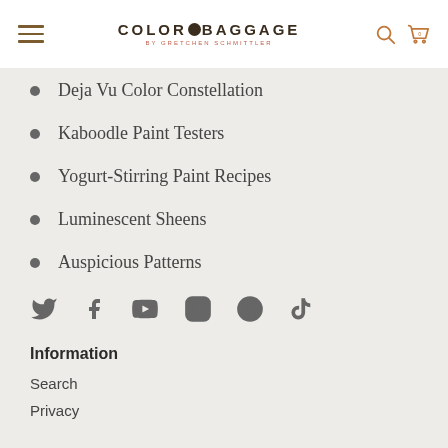COLOR & BAGGAGE BY GRETCHEN SCHMITTLER
Deja Vu Color Constellation
Kaboodle Paint Testers
Yogurt-Stirring Paint Recipes
Luminescent Sheens
Auspicious Patterns
[Figure (infographic): Social media icons: Twitter, Facebook, YouTube, Instagram, Pinterest, TikTok]
Information
Search
Privacy